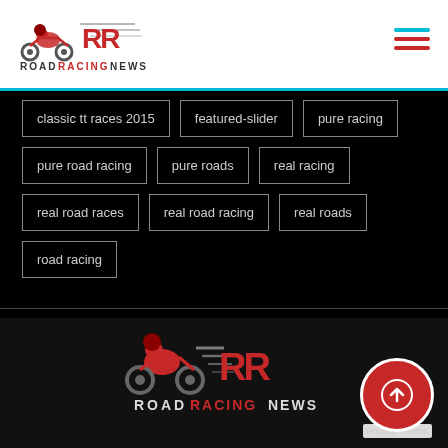[Figure (logo): Road Racing News logo with motorcycle rider and stylized RR letters]
classic tt races 2015
featured-slider
pure racing
pure road racing
pure roads
real racing
real road races
real road racing
real roads
road racing
[Figure (logo): Road Racing News footer logo with motorcycle and bold text]